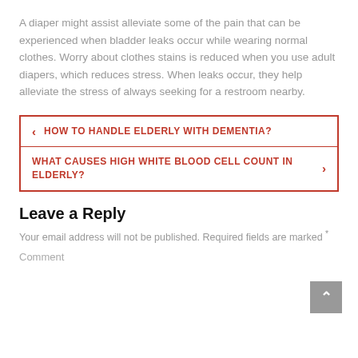A diaper might assist alleviate some of the pain that can be experienced when bladder leaks occur while wearing normal clothes. Worry about clothes stains is reduced when you use adult diapers, which reduces stress. When leaks occur, they help alleviate the stress of always seeking for a restroom nearby.
< HOW TO HANDLE ELDERLY WITH DEMENTIA?
WHAT CAUSES HIGH WHITE BLOOD CELL COUNT IN ELDERLY? >
Leave a Reply
Your email address will not be published. Required fields are marked *
Comment